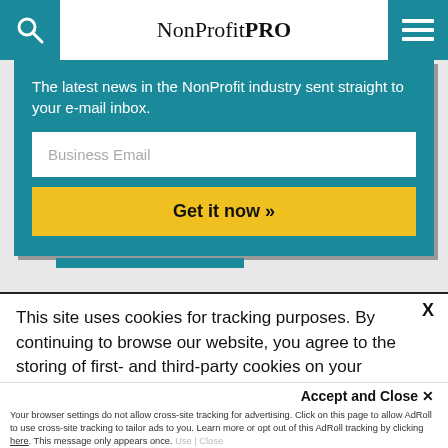NonProfit PRO
The latest news in the NonProfit industry sent straight to your e-mail inbox.
Business Email
Get it now »
This site uses cookies for tracking purposes. By continuing to browse our website, you agree to the storing of first- and third-party cookies on your device to enhance site navigation, analyze site usage, and assist in our marketing and
Accept and Close ✕
Your browser settings do not allow cross-site tracking for advertising. Click on this page to allow AdRoll to use cross-site tracking to tailor ads to you. Learn more or opt out of this AdRoll tracking by clicking here. This message only appears once.